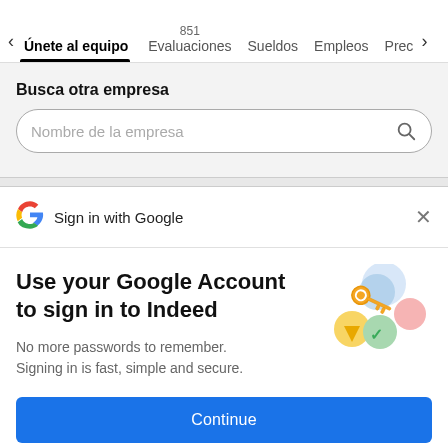< Únete al equipo   851 Evaluaciones   Sueldos   Empleos   Prec >
Busca otra empresa
Nombre de la empresa
Sign in with Google
Use your Google Account to sign in to Indeed
No more passwords to remember. Signing in is fast, simple and secure.
[Figure (illustration): Colorful Google sign-in illustration with a golden key, blue circles, yellow triangle, green checkmark, and pink/red circle]
Continue